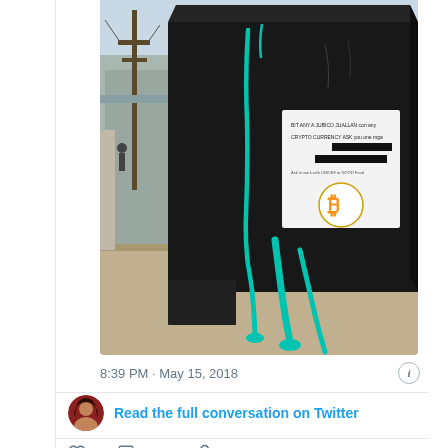[Figure (photo): A black metal utility box/kiosk on a city sidewalk covered with teal/turquoise paint drips and a white paper note with a Bitcoin logo sticker attached to it. The street scene shows a sidewalk with buildings in the background.]
8:39 PM · May 15, 2018
Read the full conversation on Twitter
5  Reply  Copy link
Read 2 replies